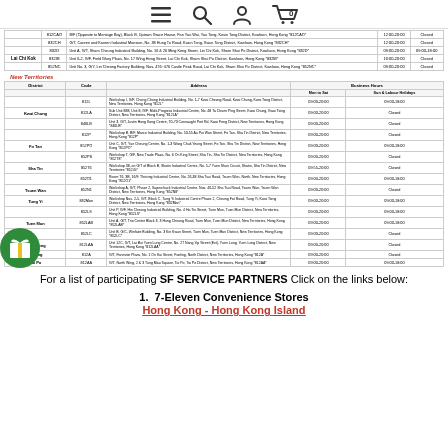Navigation bar with menu, search, account, and cart icons
| District | Code | Address | Mon to Sat | Sun & Labour Holidays |
| --- | --- | --- | --- | --- |
|  | 812CAO | B/F (Opposite to Montage Bay), Block B, Uptown Grace House, Fan Yau Wai, Yau Tong, Kwun Tong District, Kowloon, Hong Kong *812CAO* | 12:00-20:00 | Closed |
|  | 832CH | G/T, Careen and Kareen Industrial Mansion, No. 38 Hung To Road, Kwun Tong, Kwun Tong District, Kowloon, Hong Kong *832CH* | 12:00-20:00 | Closed |
|  | 832D | Unit A, G/T, Sham Cheung Industrial Building, No. 16 & 26 Ming Keng Street, Lei Chi Kok, Sham Shui Po District, Kowloon, Hong Kong *832D* | 09:00-20:00 | 09:00-18:00 |
| Lai Chi Kok | 832IB | Unit 6-2, G/F, Field Glory Plaza, No. 17 Wing Hong Street, Lai Chi Kok, Sham Shui Po District, Kowloon, Hong Kong *832IB* | 10:00-20:00 | Closed |
|  | 852NC | Unit No. 3, G/Y, Lei Cheong Factory Building, Nos. 476~476 Castle Peak Road, Lai Chi Kok, Sham Shui Po District, Kowloon, Hong Kong *852NC* | 09:00-20:00 | Closed |
New Territories
| District | Code | Address | Mon to Sat | Sun & Labour Holidays |
| --- | --- | --- | --- | --- |
|  | 812L | Workshop I, G/F, Chong Chong Industrial Building, No. 1-7 Kwai Cheong Road, Kwai Chung, Kwai Tsing District, New Territories, Hong Kong *812L* | 09:00-20:00 | 09:00-18:00 |
| Kwai Chung | 812LA | Sub Unit 888, Unit 8, G/F, Multi-Progress Industrial Centre, No. 48 Ta Chuen Ping Street, Kwai Chung, Kwai Tsing District, New Territories, Hong Kong *812LA* | 09:00-20:00 | Closed |
|  | 840LB | Unit 3, G/T, Justin Hong Kong Centre, 70-70 Connaught Port Rd, Kwai Fong District, New Territories, Hong Kong *840LB* | 09:00-20:00 | Closed |
|  | 812P | Workshop B, B/F, Marco Industrial Building, No. 53-55 Au Pui Wan Street, Fo Tan, Sha Tin District, New Territories, Hong Kong *812P* | 09:00-20:00 | Closed |
| Fo Tan | 852PO | Unit C, G/T, Yue Cheung Centre, No. 1-3 Wang Chuk Yeung Street, Fo Tan, Sha Tin District, New Territories, Hong Kong *852PO* | 09:00-20:00 | 09:00-18:00 |
|  | 852P8 | Workshop T, G/E, New Trade Plaza, No. 6 On King Street, Sha Tin, Sha Tin District, New Territories, Hong Kong *852T8* | 09:00-20:00 | Closed |
| Sha Tin | 852T6 | Workshop 38, on G/T of Block B, Shatin Industrial Centre, No. 5-7 Yuen Shun Circuit, Shatin, Sha Tin District, New Territories *852.6t* | 09:55-20:00 | Closed |
|  | 852O1 | Room T6, 3B, 16/F, Thriving Industrial Centre, No. 26-38 Sha Tsui Road, Tsuen Wan, North, New Territories, Hong Kong *852O1* | 09:00-20:00 | 09:00-18:00 |
| Tsuen Wan | 852N1 | Workshop A, G/T, Phase 2, Superchuck Industrial Centre, Nos. 40-52 Sha Tsui Road, Tsuen Wan, Tsuen Wan District, New Territories, Hong Kong *852N8* | 09:00-20:00 | Closed |
| Tung Yi | 832Man | Workshop Nos. 2-5, G/T, Block C, Tung Yi Industrial Centre Phase 2, Cheung Fat Road, Tung Yi, Kwai Tsing District, New Territories, Hong Kong *832Man* | 09:00-20:00 | 09:00-18:00 |
|  | 852LS | Unit P, G/F, Hin Cheung Industrial Building, No. 4 Ha Tin Street, Tuen Mun, Tuen Mun District, New Territories, Hong Kong *852LS* | 09:00-20:00 | 09:00-18:00 |
| Tuen Mun | 852LAB | Unit A, G/T, Trio Centre Block 3, 3 Hung Cheung Road, Tuen Mun, Tuen Mun District, New Territories, Hong Kong *852LAB* | 09:00-20:00 | 09:00-18:00 |
|  | 852LC | Unit B, G/C, Winfaite Building, No. 3 Kin Kwun Street, Tuen Mun, Tuen Mun District, New Territories, Hong Kong *852LC* | 09:00-20:00 | Closed |
| Yuen Long | 812LAA | Unit 12C, G/T, Lai Bui Yuen Lung Centre, No. 27 Nang Yip Street (Ext), Yuen Long, Yuen Long District, New Territories, Hong Kong *812LAA* | 09:00-20:00 | Closed |
| Fanling | 812A | G/T, Fanmate Plaza, No. 1 On Kui Street, Fanling, North District, New Territories, Hong Kong *812A* | 09:00-20:00 | Closed |
| Tai Po | 812AA | G/T, North Wing, 2 & 3 Tung Mau Square, Tai Po, Tai Po District, New Territories, Hong Kong *812AA* | 09:00-20:00 | 09:00-18:00 |
For a list of participating SF SERVICE PARTNERS Click on the links below:
1. 7-Eleven Convenience Stores
Hong Kong - Hong Kong Island